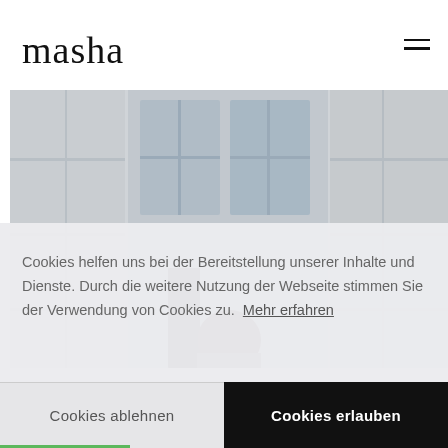[Figure (logo): masha script logo in cursive/handwritten font, top left of header]
[Figure (photo): Exterior photo of a building facade with white/grey stone panels and large windows; a person with dark hair is partially visible in the lower center of the image]
Cookies helfen uns bei der Bereitstellung unserer Inhalte und Dienste. Durch die weitere Nutzung der Webseite stimmen Sie der Verwendung von Cookies zu.  Mehr erfahren
Cookies ablehnen
Cookies erlauben